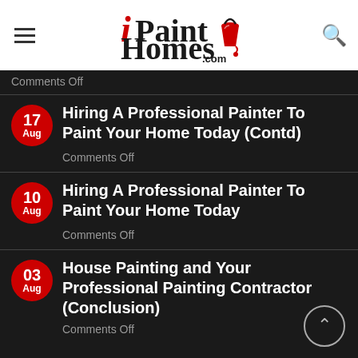iPaintHomes.com
Comments Off
17 Aug — Hiring A Professional Painter To Paint Your Home Today (Contd)
Comments Off
10 Aug — Hiring A Professional Painter To Paint Your Home Today
Comments Off
03 Aug — House Painting and Your Professional Painting Contractor (Conclusion)
Comments Off